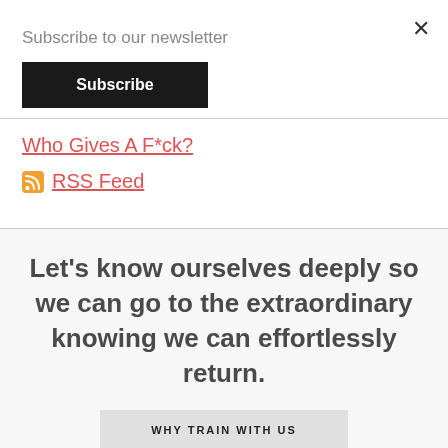Subscribe to our newsletter
Subscribe
Who Gives A F*ck?
RSS Feed
Let's know ourselves deeply so we can go to the extraordinary knowing we can effortlessly return.
WHY TRAIN WITH US